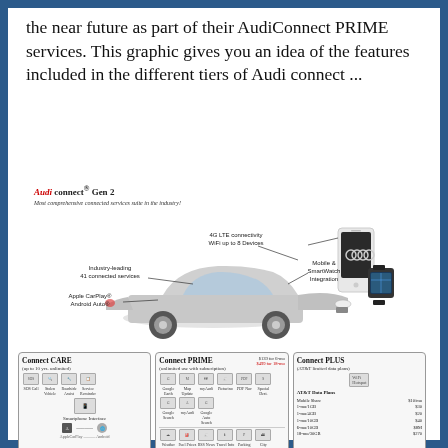the near future as part of their AudiConnect PRIME services. This graphic gives you an idea of the features included in the different tiers of Audi connect ...
[Figure (infographic): Audi connect Gen 2 infographic showing a silver Audi sedan with callout labels: '4G LTE connectivity WiFi up to 8 Devices', 'Industry-leading 41 connected services', 'Mobile & SmartWatch Integration', 'Apple CarPlay® Android Auto®'. Also shows a smartphone and smartwatch. Below are three service tier boxes: Connect CARE (up to 10 yrs. unlimited), Connect PRIME (unlimited use with subscription, $139 for 6-mo, $499 for 18-mo), Connect PLUS (AT&T limited data plans) with AT&T Data Plans pricing table.]